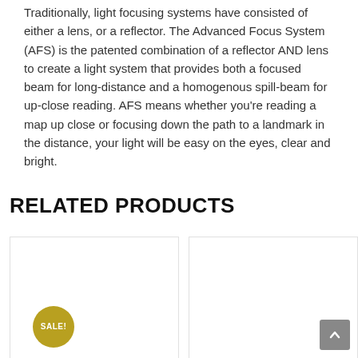Traditionally, light focusing systems have consisted of either a lens, or a reflector. The Advanced Focus System (AFS) is the patented combination of a reflector AND lens to create a light system that provides both a focused beam for long-distance and a homogenous spill-beam for up-close reading. AFS means whether you're reading a map up close or focusing down the path to a landmark in the distance, your light will be easy on the eyes, clear and bright.
RELATED PRODUCTS
[Figure (other): Product card with SALE! badge (left)]
[Figure (other): Product card (right)]